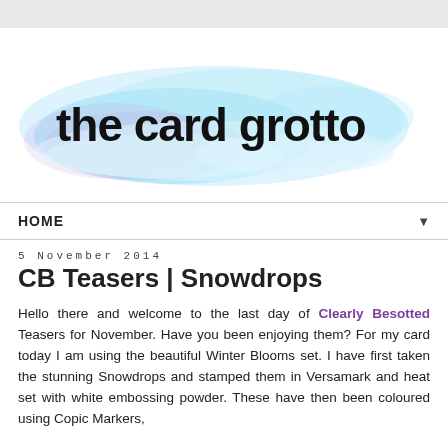[Figure (illustration): Watercolour splash header for 'the card grotto' blog — light blue and purple watercolour wash with handwritten-style black text reading 'the card grotto']
HOME ▼
5 November 2014
CB Teasers | Snowdrops
Hello there and welcome to the last day of Clearly Besotted Teasers for November. Have you been enjoying them? For my card today I am using the beautiful Winter Blooms set. I have first taken the stunning Snowdrops and stamped them in Versamark and heat set with white embossing powder. These have then been coloured using Copic Markers,